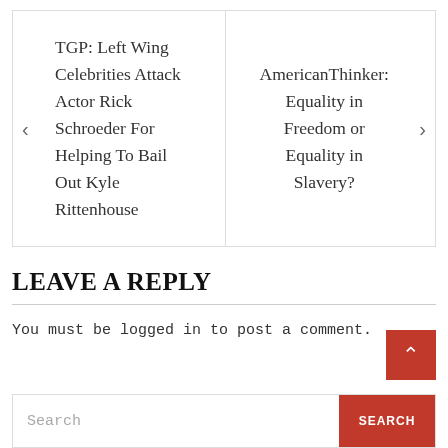TGP: Left Wing Celebrities Attack Actor Rick Schroeder For Helping To Bail Out Kyle Rittenhouse
AmericanThinker: Equality in Freedom or Equality in Slavery?
LEAVE A REPLY
You must be logged in to post a comment.
Search
SEARCH